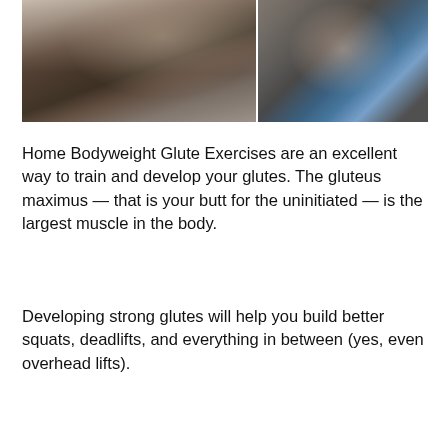[Figure (photo): Two fitness photos side by side: left shows a woman in a plank/crawl position on a mat near a window, right shows a woman in athletic wear lifting a barbell overhead]
Home Bodyweight Glute Exercises are an excellent way to train and develop your glutes. The gluteus maximus — that is your butt for the uninitiated — is the largest muscle in the body.
Developing strong glutes will help you build better squats, deadlifts, and everything in between (yes, even overhead lifts).